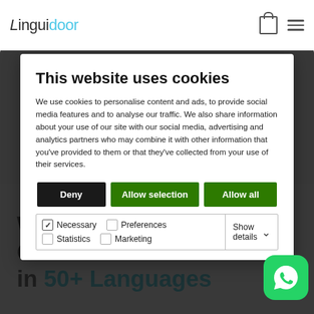Linguidoor
This website uses cookies
We use cookies to personalise content and ads, to provide social media features and to analyse our traffic. We also share information about your use of our site with our social media, advertising and analytics partners who may combine it with other information that you've provided to them or that they've collected from your use of their services.
Deny | Allow selection | Allow all
Necessary | Preferences | Statistics | Marketing | Show details
Website and SEO Content Services in 50+ Languages